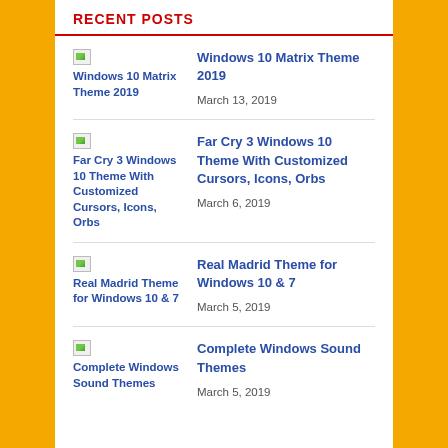RECENT POSTS
Windows 10 Matrix Theme 2019 | March 13, 2019
Far Cry 3 Windows 10 Theme With Customized Cursors, Icons, Orbs | March 6, 2019
Real Madrid Theme for Windows 10 & 7 | March 5, 2019
Complete Windows Sound Themes | March 5, 2019